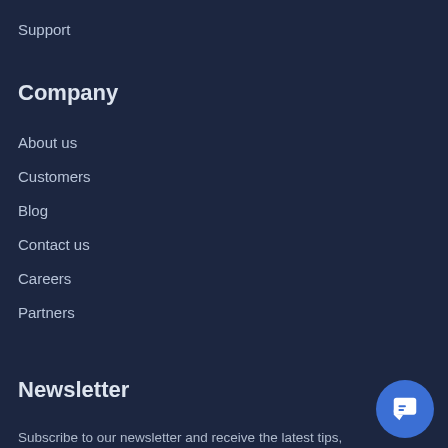Support
Company
About us
Customers
Blog
Contact us
Careers
Partners
Newsletter
Subscribe to our newsletter and receive the latest tips, cartoons & webinars straight to your inbox.